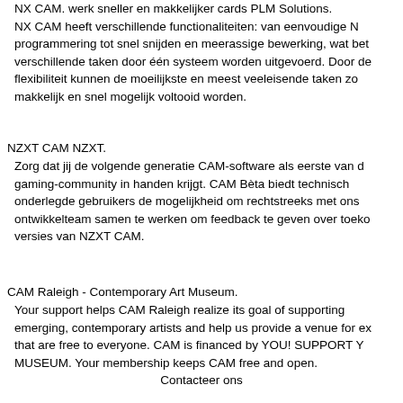NX CAM. werk sneller en makkelijker cards PLM Solutions. NX CAM heeft verschillende functionaliteiten: van eenvoudige N programmering tot snel snijden en meerassige bewerking, wat bet verschillende taken door één systeem worden uitgevoerd. Door de flexibiliteit kunnen de moeilijkste en meest veeleisende taken zo makkelijk en snel mogelijk voltooid worden.
NZXT CAM NZXT.
Zorg dat jij de volgende generatie CAM-software als eerste van de gaming-community in handen krijgt. CAM Bèta biedt technisch onderlegde gebruikers de mogelijkheid om rechtstreeks met ons ontwikkelteam samen te werken om feedback te geven over toeko versies van NZXT CAM.
CAM Raleigh - Contemporary Art Museum.
Your support helps CAM Raleigh realize its goal of supporting emerging, contemporary artists and help us provide a venue for ex that are free to everyone. CAM is financed by YOU! SUPPORT Y MUSEUM. Your membership keeps CAM free and open.
Contacteer ons